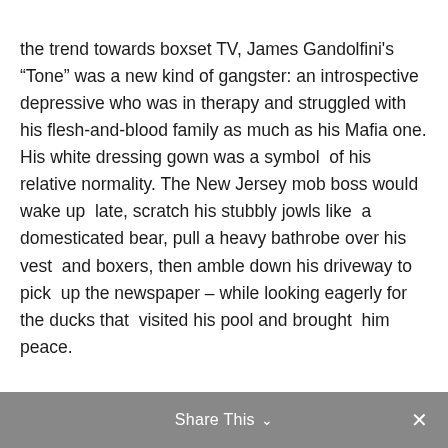the trend towards boxset TV, James Gandolfini's “Tone” was a new kind of gangster: an introspective depressive who was in therapy and struggled with his flesh-and-blood family as much as his Mafia one. His white dressing gown was a symbol of his relative normality. The New Jersey mob boss would wake up late, scratch his stubbly jowls like a domesticated bear, pull a heavy bathrobe over his vest and boxers, then amble down his driveway to pick up the newspaper – while looking eagerly for the ducks that visited his pool and brought him peace.
Share This ∨ ×